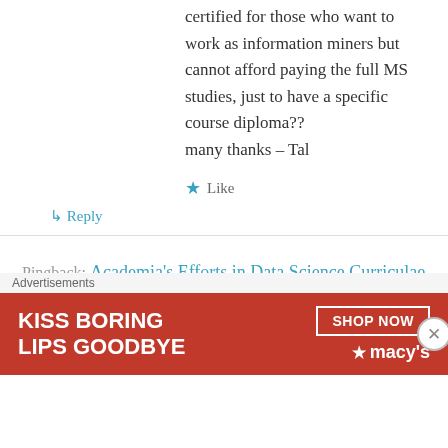certified for those who want to work as information miners but cannot afford paying the full MS studies, just to have a specific course diploma??
many thanks – Tal
★ Like
↳ Reply
Pingback: Academia's Efforts in Data Science Curriculae - Experfy Insights
dev on April 27, 2014 at 4:13 am
[Figure (photo): Advertisement banner for Macy's: 'Kiss Boring Lips Goodbye' with Shop Now button and Macy's star logo]